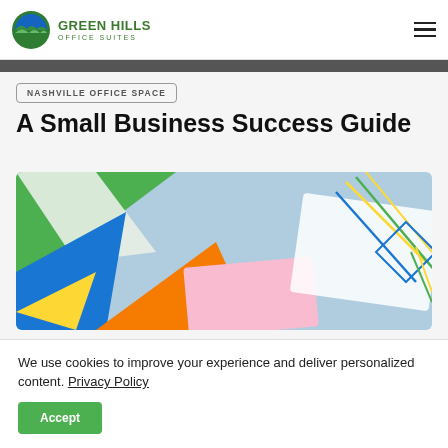Green Hills Office Suites
NASHVILLE OFFICE SPACE
A Small Business Success Guide
[Figure (photo): Overhead view of colorful geometric paper shapes and straws on a light blue background]
We use cookies to improve your experience and deliver personalized content. Privacy Policy
Accept